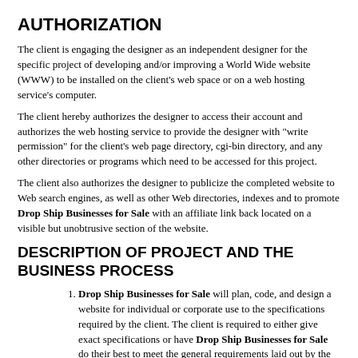AUTHORIZATION
The client is engaging the designer as an independent designer for the specific project of developing and/or improving a World Wide website (WWW) to be installed on the client's web space or on a web hosting service's computer.
The client hereby authorizes the designer to access their account and authorizes the web hosting service to provide the designer with "write permission" for the client's web page directory, cgi-bin directory, and any other directories or programs which need to be accessed for this project.
The client also authorizes the designer to publicize the completed website to Web search engines, as well as other Web directories, indexes and to promote Drop Ship Businesses for Sale with an affiliate link back located on a visible but unobtrusive section of the website.
DESCRIPTION OF PROJECT AND THE BUSINESS PROCESS
Drop Ship Businesses for Sale will plan, code, and design a website for individual or corporate use to the specifications required by the client. The client is required to either give exact specifications or have Drop Ship Businesses for Sale do their best to meet the general requirements laid out by the client.
The estimate described in this document is only referring to the…